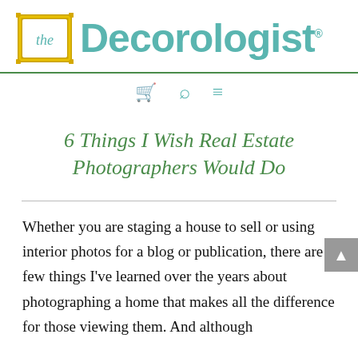[Figure (logo): The Decorologist logo with gold frame and teal text]
[Figure (other): Navigation bar with cart, search, and menu icons]
6 Things I Wish Real Estate Photographers Would Do
Whether you are staging a house to sell or using interior photos for a blog or publication, there are a few things I've learned over the years about photographing a home that makes all the difference for those viewing them. And although